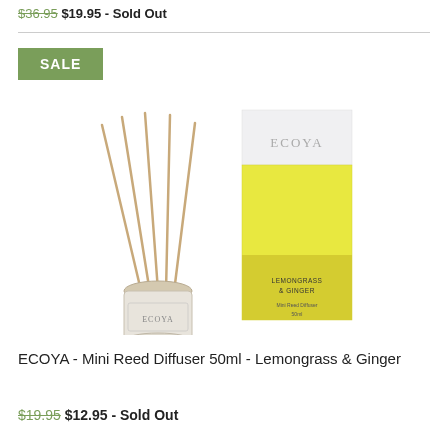$36.95 $19.95 - Sold Out
[Figure (photo): ECOYA Mini Reed Diffuser 50ml in Lemongrass & Ginger scent. Shows a small glass diffuser bottle with wooden reed sticks alongside a yellow/white rectangular product box with ECOYA branding.]
ECOYA - Mini Reed Diffuser 50ml - Lemongrass & Ginger
$19.95 $12.95 - Sold Out